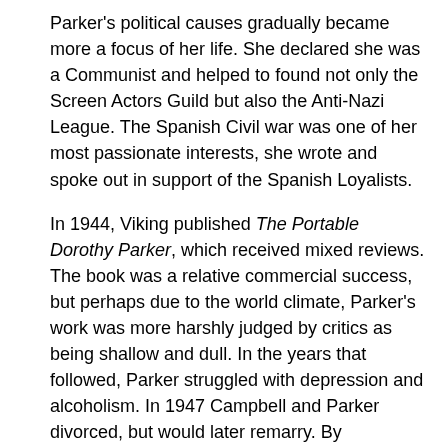Parker's political causes gradually became more a focus of her life. She declared she was a Communist and helped to found not only the Screen Actors Guild but also the Anti-Nazi League. The Spanish Civil war was one of her most passionate interests, she wrote and spoke out in support of the Spanish Loyalists.
In 1944, Viking published The Portable Dorothy Parker, which received mixed reviews. The book was a relative commercial success, but perhaps due to the world climate, Parker's work was more harshly judged by critics as being shallow and dull. In the years that followed, Parker struggled with depression and alcoholism. In 1947 Campbell and Parker divorced, but would later remarry. By 1949, Parker had been blacklisted for her political associations and eventually pleaded the First Amendment in hearings when she was asked if she were a Communist.